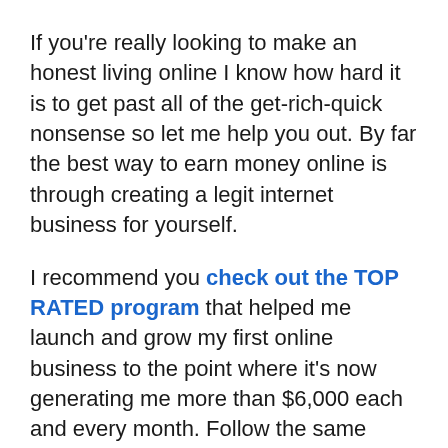If you're really looking to make an honest living online I know how hard it is to get past all of the get-rich-quick nonsense so let me help you out. By far the best way to earn money online is through creating a legit internet business for yourself.
I recommend you check out the TOP RATED program that helped me launch and grow my first online business to the point where it's now generating me more than $6,000 each and every month. Follow the same training I did and you can get the same results.
Thanks for reading this Money Rev...